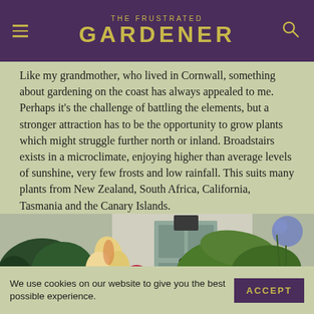THE FRUSTRATED GARDENER
Like my grandmother, who lived in Cornwall, something about gardening on the coast has always appealed to me. Perhaps it's the challenge of battling the elements, but a stronger attraction has to be the opportunity to grow plants which might struggle further north or inland. Broadstairs exists in a microclimate, enjoying higher than average levels of sunshine, very few frosts and low rainfall. This suits many plants from New Zealand, South Africa, California, Tasmania and the Canary Islands.
[Figure (photo): Garden photo showing colourful flowers including dahlias and lilies with large green tropical leaves and a grey door in the background]
We use cookies on our website to give you the best possible experience.